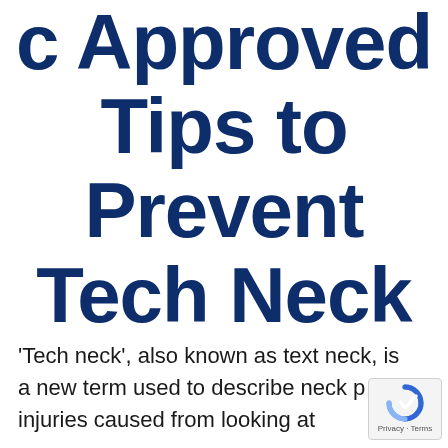c Approved Tips to Prevent Tech Neck
'Tech neck', also known as text neck, is a new term used to describe neck p or injuries caused from looking at